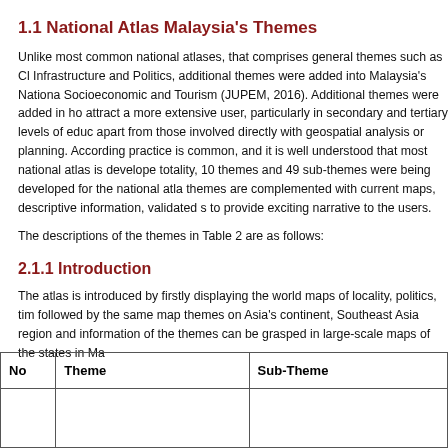1.1 National Atlas Malaysia's Themes
Unlike most common national atlases, that comprises general themes such as Climate, Infrastructure and Politics, additional themes were added into Malaysia's National Atlas: Socioeconomic and Tourism (JUPEM, 2016). Additional themes were added in hopes to attract a more extensive user, particularly in secondary and tertiary levels of education, apart from those involved directly with geospatial analysis or planning. According to this, practice is common, and it is well understood that most national atlas is developed. In totality, 10 themes and 49 sub-themes were being developed for the national atlas. All themes are complemented with current maps, descriptive information, validated statistics to provide exciting narrative to the users.
The descriptions of the themes in Table 2 are as follows:
2.1.1 Introduction
The atlas is introduced by firstly displaying the world maps of locality, politics, time zone, followed by the same map themes on Asia's continent, Southeast Asia region and detailed information of the themes can be grasped in large-scale maps of the states in Malaysia.
| No | Theme | Sub-Theme |
| --- | --- | --- |